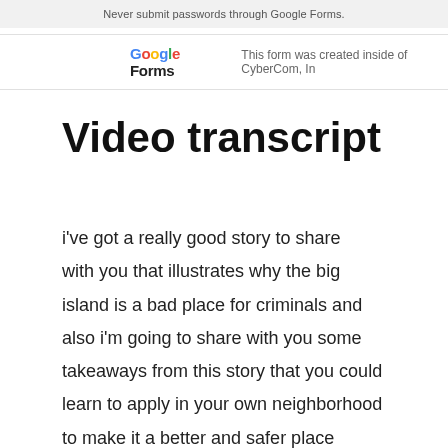Never submit passwords through Google Forms.
Google Forms   This form was created inside of CyberCom, In
Video transcript
i've got a really good story to share with you that illustrates why the big island is a bad place for criminals and also i'm going to share with you some takeaways from this story that you could learn to apply in your own neighborhood to make it a better and safer place [Music] aloha i'm peter k and i've been living in hawaii since the